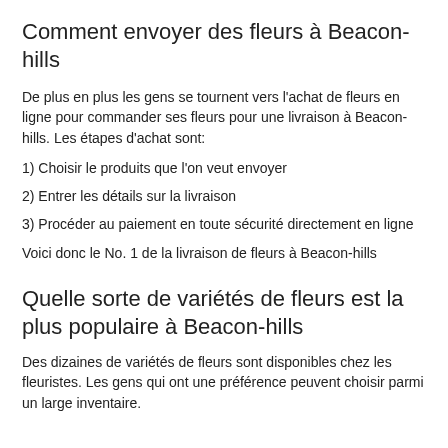Comment envoyer des fleurs à Beacon-hills
De plus en plus les gens se tournent vers l'achat de fleurs en ligne pour commander ses fleurs pour une livraison à Beacon-hills.  Les étapes d'achat sont:
1) Choisir le produits que l'on veut envoyer
2) Entrer les détails sur la livraison
3) Procéder au paiement en toute sécurité directement en ligne
Voici donc le No. 1 de la livraison de fleurs à Beacon-hills
Quelle sorte de variétés de fleurs est la plus populaire à Beacon-hills
Des dizaines de variétés de fleurs sont disponibles chez les fleuristes. Les gens qui ont une préférence peuvent choisir parmi un large inventaire.